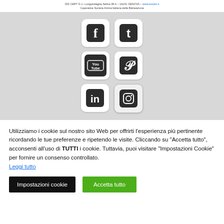ISS CERT S.r.l. Lungobalagna Salina 39 A – 16141 GENOVA – www.isscert.it
Coperative Societa Anima Italiana della Balneazione
[Figure (illustration): Grid of 6 social media icons on grey background: Facebook (f), Twitter (t), YouTube (You Tube), Pinterest (P), LinkedIn (in), Instagram (camera)]
Utilizziamo i cookie sul nostro sito Web per offrirti l'esperienza più pertinente ricordando le tue preferenze e ripetendo le visite. Cliccando su "Accetta tutto", acconsenti all'uso di TUTTI i cookie. Tuttavia, puoi visitare "Impostazioni Cookie" per fornire un consenso controllato.
Leggi tutto
Impostazioni cookie
Accetta tutto